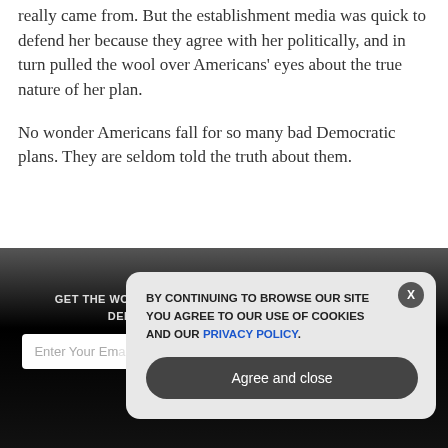really came from. But the establishment media was quick to defend her because they agree with her politically, and in turn pulled the wool over Americans' eyes about the true nature of her plan.
No wonder Americans fall for so many bad Democratic plans. They are seldom told the truth about them.
GET THE WORLD'S BEST NATURAL HEALTH NEWSLETTER DELIVERED STRAIGHT TO YOUR INBOX.
[Figure (screenshot): Cookie consent popup overlay on dark newsletter signup section. Popup reads: BY CONTINUING TO BROWSE OUR SITE YOU AGREE TO OUR USE OF COOKIES AND OUR PRIVACY POLICY. with an Agree and close button and an X close button.]